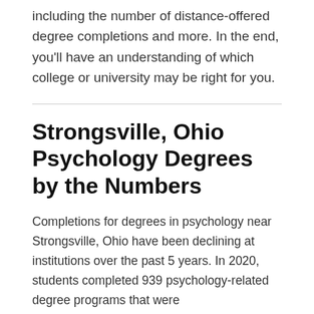including the number of distance-offered degree completions and more. In the end, you'll have an understanding of which college or university may be right for you.
Strongsville, Ohio Psychology Degrees by the Numbers
Completions for degrees in psychology near Strongsville, Ohio have been declining at institutions over the past 5 years. In 2020, students completed 939 psychology-related degree programs that were